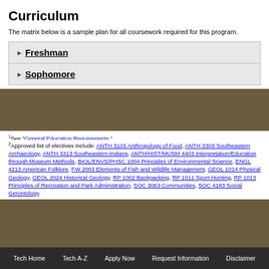Curriculum
The matrix below is a sample plan for all coursework required for this program.
Freshman
Sophomore
1See "General Education Requirements ".
2Approved list of electives include: ANTH 3103 Anthropology of Food, ANTH 3303 Southeastern Archaeology, ANTH 3313 Southeastern Indians, ANTH/HIST/MUSM 4403 Interpretation/Education through Museum Methods, BIOL/ENVS/PHSC 1004 Principles of Environmental Science, ENGL 4213 American Folklore, FW 2003 Elements of Fish and Wildlife Management, GEOL 1014 Physical Geology, GEOL 2024 Historical Geology, RP 1002 Backpacking, RP 1011 Sport Hunting, RP 1013 Principles of Recreation and Park Administration, SOC 3063 Communities, SOC 4183 Social Gerontology.
Tech Home  Tech A-Z  Apply Now  Request Information  Disclaimer